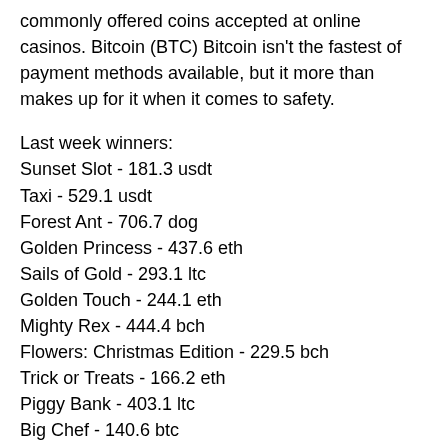commonly offered coins accepted at online casinos. Bitcoin (BTC) Bitcoin isn't the fastest of payment methods available, but it more than makes up for it when it comes to safety.
Last week winners:
Sunset Slot - 181.3 usdt
Taxi - 529.1 usdt
Forest Ant - 706.7 dog
Golden Princess - 437.6 eth
Sails of Gold - 293.1 ltc
Golden Touch - 244.1 eth
Mighty Rex - 444.4 bch
Flowers: Christmas Edition - 229.5 bch
Trick or Treats - 166.2 eth
Piggy Bank - 403.1 ltc
Big Chef - 140.6 btc
Three Musketeers and the Queen's Diamond - 201.1 eth
Astronomical - 189 usdt
Gold As Ice - 664.3 dog